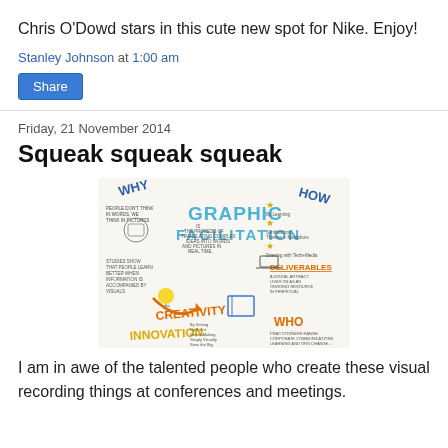Chris O'Dowd stars in this cute new spot for Nike. Enjoy!
Stanley Johnson at 1:00 am
Share
Friday, 21 November 2014
Squeak squeak squeak
[Figure (illustration): Sketchnote / graphic facilitation visual with handwritten text and drawings. Central text reads 'GRAPHIC FACILITATION'. Surrounding sections include: WHY, HOW (with sub-items: by learning, synthesizing themes+metaphors, drawing with tech+media, deliverables), WHO, CREATIVITY, INNOVATION, and related handwritten notes and doodles.]
I am in awe of the talented people who create these visual recording things at conferences and meetings.